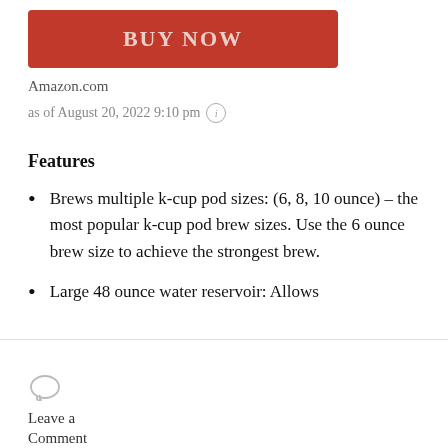[Figure (other): Red BUY NOW button]
Amazon.com
as of August 20, 2022 9:10 pm ℹ
Features
Brews multiple k-cup pod sizes: (6, 8, 10 ounce) – the most popular k-cup pod brew sizes. Use the 6 ounce brew size to achieve the strongest brew.
Large 48 ounce water reservoir: Allows
Leave a Comment